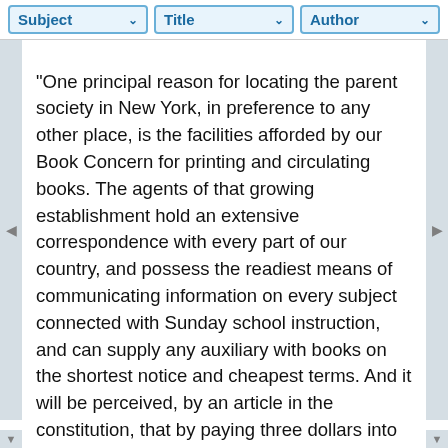Subject | Title | Author
"One principal reason for locating the parent society in New York, in preference to any other place, is the facilities afforded by our Book Concern for printing and circulating books. The agents of that growing establishment hold an extensive correspondence with every part of our country, and possess the readiest means of communicating information on every subject connected with Sunday school instruction, and can supply any auxiliary with books on the shortest notice and cheapest terms. And it will be perceived, by an article in the constitution, that by paying three dollars into the funds of the institution, sending a list of its officers, and a copy of its annual report, an auxiliary is entitled to purchase books at the reduced prices. A list of the books, with the prices annexed, will hereafter be